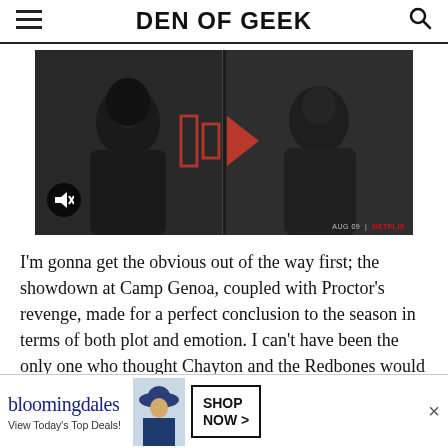DEN OF GEEK
[Figure (screenshot): Video player thumbnail showing two people in a split screen with a play button overlay, mute icon in bottom-left, and Netflix watermark in bottom-right.]
I'm gonna get the obvious out of the way first; the showdown at Camp Genoa, coupled with Proctor's revenge, made for a perfect conclusion to the season in terms of both plot and emotion. I can't have been the only one who thought Chayton and the Redbones would be our endgame this year, and I certainly had my concerns when that arc was concluded two episodes before the
[Figure (screenshot): Bloomingdale's advertisement banner: logo text 'bloomingdales', subtext 'View Today's Top Deals!', woman in hat figure, and a SHOP NOW button. Close X button on right.]